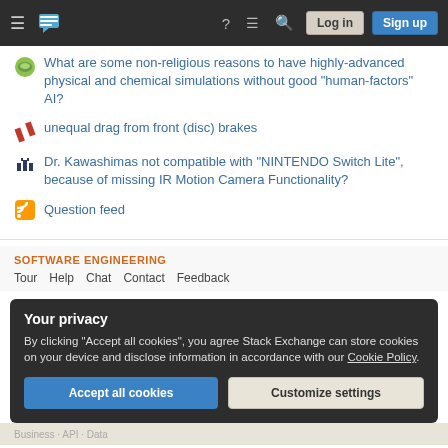Stack Exchange navigation bar with hamburger menu, logo, help, chat, search icons, Log in and Sign up buttons
What are some non-religious reasons to have highly-advanced physical and chemical simulations without good "human-factors" AI?
unequal drag from front (disc) brakes
Dr. Kawashimas not compatible with "NINTENDO Switch Lite", because of missing IR Motion Camera Functionality?
Question feed
SOFTWARE ENGINEERING
Tour  Help  Chat  Contact  Feedback
Your privacy
By clicking "Accept all cookies", you agree Stack Exchange can store cookies on your device and disclose information in accordance with our Cookie Policy.
Accept all cookies  Customize settings